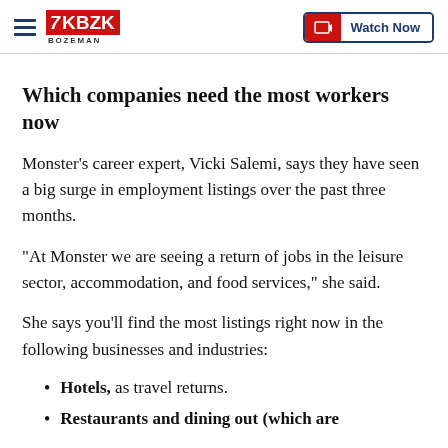KBZK BOZEMAN — Watch Now
Which companies need the most workers now
Monster's career expert, Vicki Salemi, says they have seen a big surge in employment listings over the past three months.
"At Monster we are seeing a return of jobs in the leisure sector, accommodation, and food services," she said.
She says you'll find the most listings right now in the following businesses and industries:
Hotels, as travel returns.
Restaurants and dining out (which are)